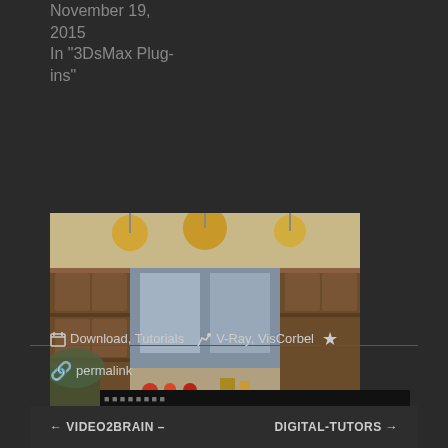November 19, 2015
In "3DsMax Plug-ins"
[Figure (photo): Kitchen interior rendering showing a luxurious kitchen with hanging pendant lights, wooden cabinets, and a kitchen island with bar stools]
VisCorbel – Kitchen Deluxe
September 7, 2012
In "Download"
Download, Tutorials  V-Ray, VisCorbel  permalink
← VIDEO2BRAIN –  DIGITAL-TUTORS →